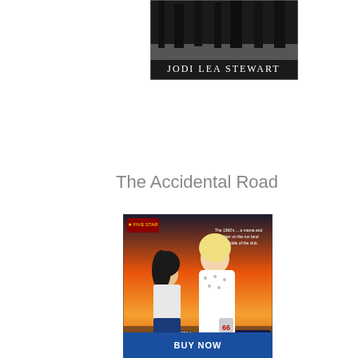[Figure (photo): Book cover thumbnail showing 'Jodi Lea Stewart' text on a dark nature/landscape background in grayscale]
The Accidental Road
[Figure (photo): Book cover for 'The Accidental Road' by Jodi Lea Stewart, showing two women on Route 66 against an orange sunset sky, with a vintage car in background]
[Figure (other): Blue button bar at bottom of page, partially visible]